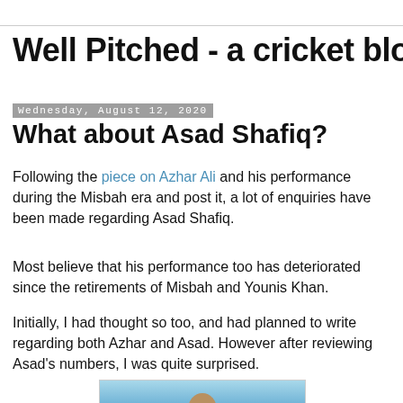Well Pitched - a cricket blog
Wednesday, August 12, 2020
What about Asad Shafiq?
Following the piece on Azhar Ali and his performance during the Misbah era and post it, a lot of enquiries have been made regarding Asad Shafiq.
Most believe that his performance too has deteriorated since the retirements of Misbah and Younis Khan.
Initially, I had thought so too, and had planned to write regarding both Azhar and Asad. However after reviewing Asad's numbers, I was quite surprised.
[Figure (photo): Photograph of Asad Shafiq, partially visible at bottom of page, cricket player portrait with blue background]